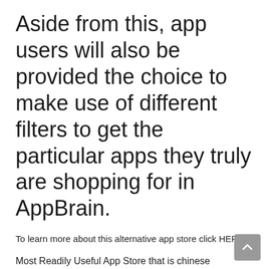Aside from this, app users will also be provided the choice to make use of different filters to get the particular apps they truly are shopping for in AppBrain.
To learn more about this alternative app store click HERE
Most Readily Useful App Store that is chinese Alternatives
From the time Bing manhunt profile Enjoy shop ended up being prohibited in Asia, Chinese technology leaders Tencent and Xiaomi, arrived up using their own Chinese software shops. This resulted in the increase of a 3rd big application market that caters to the earth’s population